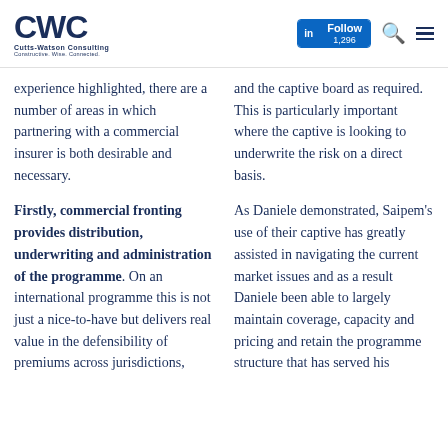CWC Cutts-Watson Consulting — Constructive. Wise. Connected. | LinkedIn Follow 1,296
experience highlighted, there are a number of areas in which partnering with a commercial insurer is both desirable and necessary.
Firstly, commercial fronting provides distribution, underwriting and administration of the programme. On an international programme this is not just a nice-to-have but delivers real value in the defensibility of premiums across jurisdictions,
and the captive board as required. This is particularly important where the captive is looking to underwrite the risk on a direct basis.
As Daniele demonstrated, Saipem's use of their captive has greatly assisted in navigating the current market issues and as a result Daniele been able to largely maintain coverage, capacity and pricing and retain the programme structure that has served his